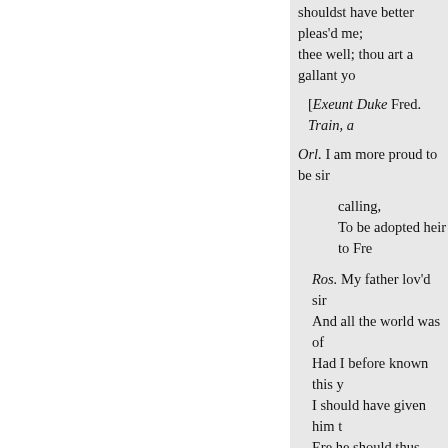shouldst have better pleas'd me; thee well; thou art a gallant yo
[Exeunt Duke Fred. Train, a
Orl. I am more proud to be sir
calling,
To be adopted heir to Fre
Ros. My father lov'd sir
And all the world was of
Had I before known this y
I should have given him t
Ere he should thus have w
Cel.
Gent
Let us go thank him, and
My father's rough and en
Sticks me at heart.-Sir, yo
If you do keep your prom
But justly, as you have ex
Your mistress shall be ha
'—that calling,] i. e. appellat